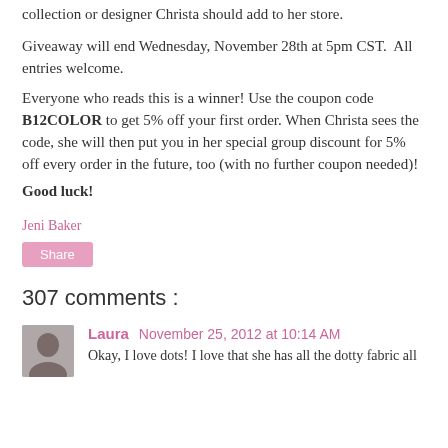collection or designer Christa should add to her store.
Giveaway will end Wednesday, November 28th at 5pm CST.  All entries welcome.
Everyone who reads this is a winner! Use the coupon code B12COLOR to get 5% off your first order. When Christa sees the code, she will then put you in her special group discount for 5% off every order in the future, too (with no further coupon needed)!
Good luck!
Jeni Baker
Share
307 comments :
Laura  November 25, 2012 at 10:14 AM
Okay, I love dots! I love that she has all the dotty fabric all